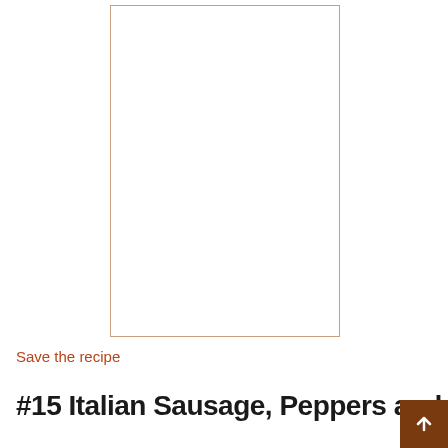[Figure (photo): A white/blank rectangular image placeholder with a light brown/tan border]
Save the recipe
#15 Italian Sausage, Peppers and